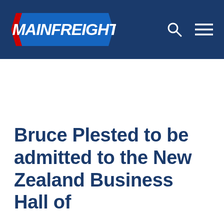[Figure (logo): Mainfreight logo — bold italic white and red text 'MAINFREIGHT' on a blue parallelogram/chevron shape, on a dark navy header bar with search and menu icons on the right]
Bruce Plested to be admitted to the New Zealand Business Hall of